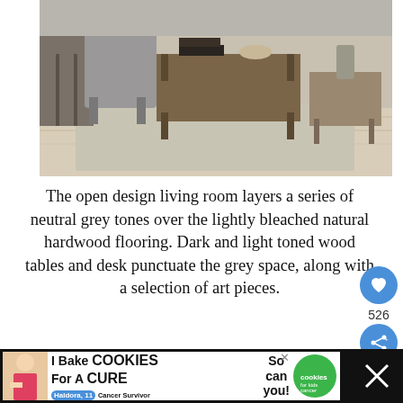[Figure (photo): Interior living room photo showing neutral grey tones, bleached natural hardwood flooring, dark and light toned wood coffee tables, and furniture on an area rug.]
The open design living room layers a series of neutral grey tones over the lightly bleached natural hardwood flooring. Dark and light toned wood tables and desk punctuate the grey space, along with a selection of art pieces.
[Figure (photo): Partial interior photo of a room with grey tones and curtains, partially obscured by an advertisement banner at the bottom.]
[Figure (other): Advertisement banner: 'I Bake COOKIES For A CURE - So can you! Haldora, 11 Cancer Survivor - cookies for kids cancer' with a green cookies logo and a girl holding cookies.]